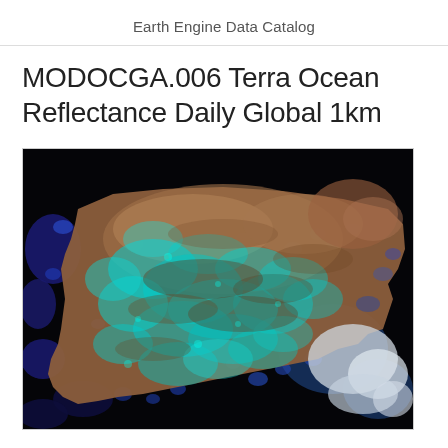Earth Engine Data Catalog
MODOCGA.006 Terra Ocean Reflectance Daily Global 1km
[Figure (map): Satellite image showing Terra Ocean Reflectance data over the Iberian Peninsula (Spain and Portugal). The image shows a false-color composite with brown/tan land areas, cyan/teal vegetation patterns, dark blue water bodies, and black ocean/dark areas around the peninsula. Clouds appear white/light gray in the lower right.]